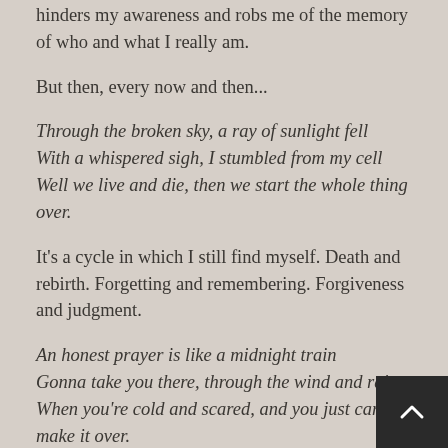hinders my awareness and robs me of the memory of who and what I really am.
But then, every now and then...
Through the broken sky, a ray of sunlight fell
With a whispered sigh, I stumbled from my cell
Well we live and die, then we start the whole thing over.
It’s a cycle in which I still find myself. Death and rebirth. Forgetting and remembering. Forgiveness and judgment.
An honest prayer is like a midnight train
Gonna take you there, through the wind and rain
When you’re cold and scared, and you just can’t make it over.